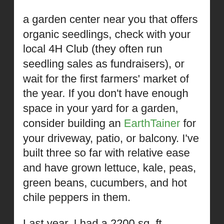a garden center near you that offers organic seedlings, check with your local 4H Club (they often run seedling sales as fundraisers), or wait for the first farmers' market of the year. If you don't have enough space in your yard for a garden, consider building an EarthTainer for your driveway, patio, or balcony. I've built three so far with relative ease and have grown lettuce, kale, peas, green beans, cucumbers, and hot chile peppers in them.
Last year, I had a 2200 sq. ft. garden and a greenhouse. This year, I may get a 6 sq. ft. garden bed, and I have my three EarthTainers. That's a lot less growing space, but it was a necessary change for